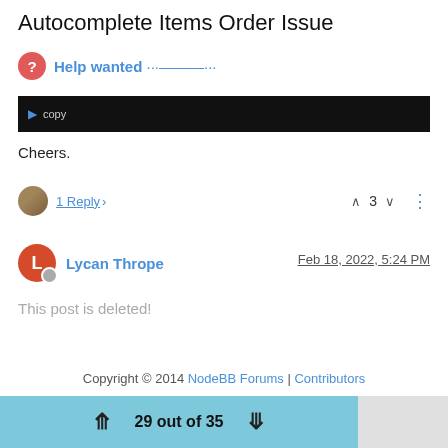Autocomplete Items Order Issue
Help wanted ···———···
[Figure (screenshot): Dark toolbar bar with copy icon and text]
Cheers.
1 Reply > 3
Lycan Thrope  Feb 18, 2022, 5:24 PM
This post is deleted!
Copyright © 2014 NodeBB Forums | Contributors
29 out of 35